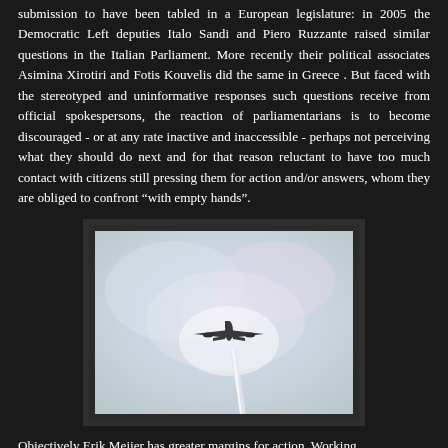submission to have been tabled in a European legislature: in 2005 the Democratic Left deputies Italo Sandi and Piero Ruzzante raised similar questions in the Italian Parliament. More recently their political associates Asimina Xirotiri and Fotis Kouvelis did the same in Greece . But faced with the stereotyped and uninformative responses such questions receive from official spokespersons, the reaction of parliamentarians is to become discouraged - or at any rate inactive and inaccessible - perhaps not perceiving what they should do next and for that reason reluctant to have too much contact with citizens still pressing them for action and/or answers, whom they are obliged to confront “with empty hands”.
[Figure (photo): A photograph of an aircraft (airplane) seen from below against a pale, hazy sky. The aircraft appears as a dark silhouette centered in the image. A bright streak or trail is visible below the aircraft.]
Objectively Erik Meijer has greater margins for action. Working